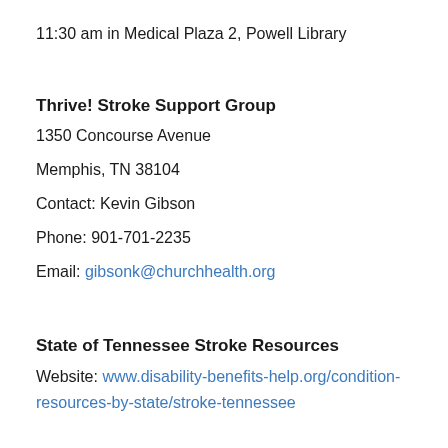11:30 am in Medical Plaza 2, Powell Library
Thrive! Stroke Support Group
1350 Concourse Avenue
Memphis, TN 38104
Contact: Kevin Gibson
Phone: 901-701-2235
Email: gibsonk@churchhealth.org
State of Tennessee Stroke Resources
Website: www.disability-benefits-help.org/condition-resources-by-state/stroke-tennessee